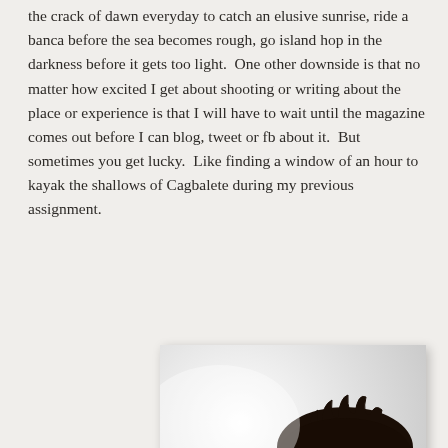the crack of dawn everyday to catch an elusive sunrise, ride a banca before the sea becomes rough, go island hop in the darkness before it gets too light.  One other downside is that no matter how excited I get about shooting or writing about the place or experience is that I will have to wait until the magazine comes out before I can blog, tweet or fb about it.  But sometimes you get lucky.  Like finding a window of an hour to kayak the shallows of Cagbalete during my previous assignment.
[Figure (photo): A photograph of a baby with dark hair resting its chin on an arm, looking downward with a serious expression. The baby is wearing a white outfit. The background is white/light colored.]